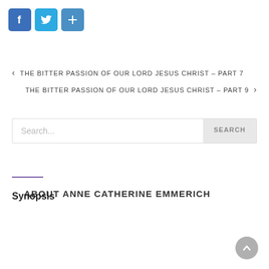[Figure (other): Social media share icons: Facebook (blue f), Twitter (blue bird), and a share/add button (blue plus sign)]
< THE BITTER PASSION OF OUR LORD JESUS CHRIST – PART 7
THE BITTER PASSION OF OUR LORD JESUS CHRIST – PART 9 >
Search...
ABOUT ANNE CATHERINE EMMERICH
Synopsis